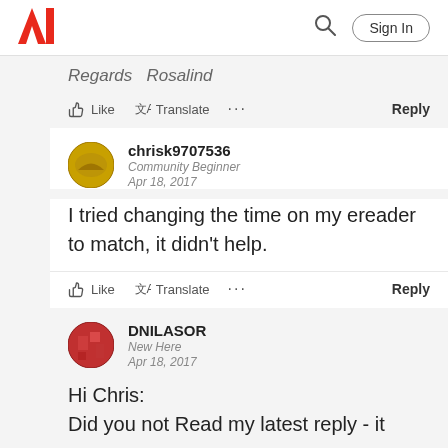Adobe | Sign In
Regards  Rosalind
Like  Translate  ...  Reply
chrisk9707536
Community Beginner
Apr 18, 2017
I tried changing the time on my ereader to match, it didn't help.
Like  Translate  ...  Reply
DNILASOR
New Here
Apr 18, 2017
Hi Chris:
Did you not Read my latest reply - it